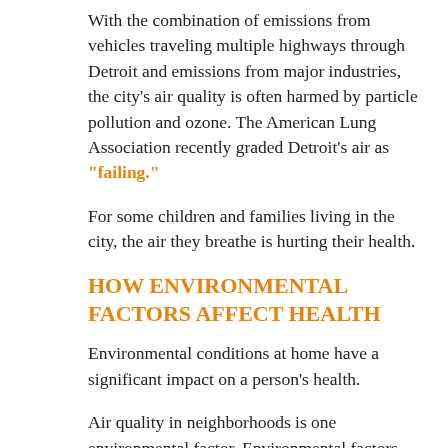With the combination of emissions from vehicles traveling multiple highways through Detroit and emissions from major industries, the city's air quality is often harmed by particle pollution and ozone. The American Lung Association recently graded Detroit's air as "failing."
For some children and families living in the city, the air they breathe is hurting their health.
HOW ENVIRONMENTAL FACTORS AFFECT HEALTH
Environmental conditions at home have a significant impact on a person's health.
Air quality in neighborhoods is one environmental factor. Environmental factors, when combined with other social determinants of health, like housing stability, job security, fresh food availability, transportation and education can